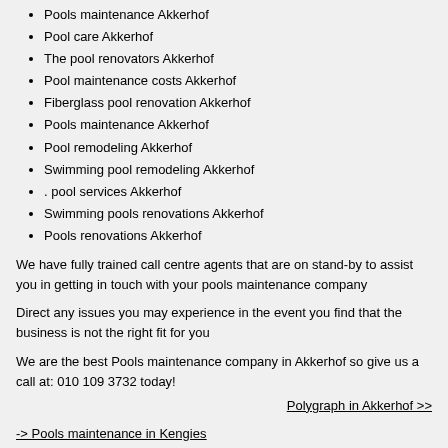Pools maintenance Akkerhof
Pool care Akkerhof
The pool renovators Akkerhof
Pool maintenance costs Akkerhof
Fiberglass pool renovation Akkerhof
Pools maintenance Akkerhof
Pool remodeling Akkerhof
Swimming pool remodeling Akkerhof
. pool services Akkerhof
Swimming pools renovations Akkerhof
Pools renovations Akkerhof
We have fully trained call centre agents that are on stand-by to assist you in getting in touch with your pools maintenance company
Direct any issues you may experience in the event you find that the business is not the right fit for you
We are the best Pools maintenance company in Akkerhof so give us a call at: 010 109 3732 today!
Polygraph in Akkerhof >>
-> Pools maintenance in Kengies
-> Pools maintenance in Boordfontein
-> Pools maintenance in Glenvista
-> Pools maintenance in Dunkeld